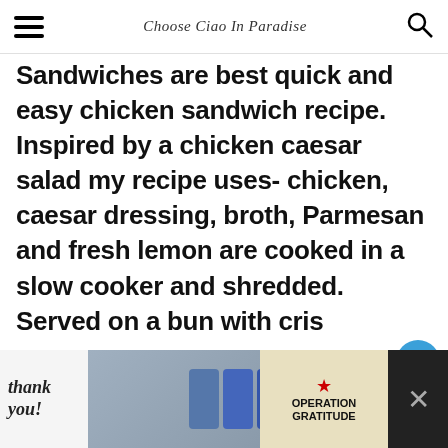Choose Ciao In Paradise
Sandwiches are best quick and easy chicken sandwich recipe. Inspired by a chicken caesar salad my recipe uses- chicken, caesar dressing, broth, Parmesan and fresh lemon are cooked in a slow cooker and shredded. Served on a bun with crisp chopped romaine, and more Parmesan make a quick and easy weeknight chicken dinner.
[Figure (infographic): Operation Gratitude advertisement banner with thank you message and photo of people in masks holding boxes]